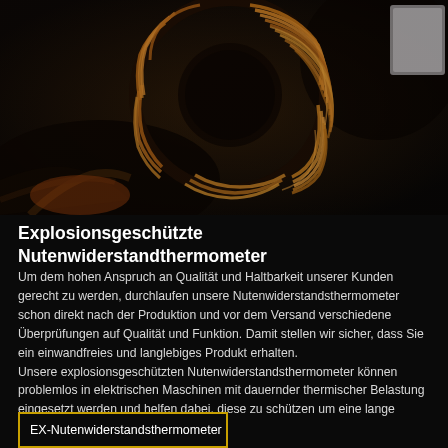[Figure (photo): Close-up industrial photograph of electric motor or generator windings/stator coils in orange-brown copper tones against a dark background, showing detailed layered metallic components.]
Explosionsgeschützte Nutenwiderstandthermometer
Um dem hohen Anspruch an Qualität und Haltbarkeit unserer Kunden gerecht zu werden, durchlaufen unsere Nutenwiderstandsthermometer schon direkt nach der Produktion und vor dem Versand verschiedene Überprüfungen auf Qualität und Funktion. Damit stellen wir sicher, dass Sie ein einwandfreies und langlebiges Produkt erhalten. Unsere explosionsgeschützten Nutenwiderstandsthermometer können problemlos in elektrischen Maschinen mit dauernder thermischer Belastung eingesetzt werden und helfen dabei, diese zu schützen um eine lange Betriebsdauer zu ermöglichen.
EX-Nutenwiderstandsthermometer